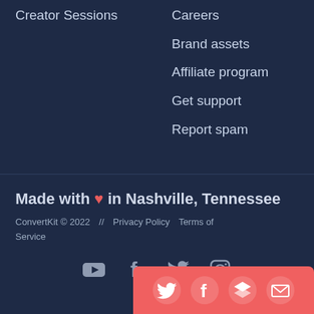Creator Sessions
Careers
Brand assets
Affiliate program
Get support
Report spam
Made with ❤ in Nashville, Tennessee
ConvertKit © 2022   //   Privacy Policy   Terms of Service
[Figure (other): Social media icons row: YouTube, Facebook, Twitter, Instagram]
[Figure (other): Share bar with Twitter, Facebook, layers/buffer, and email icons on red/pink background]